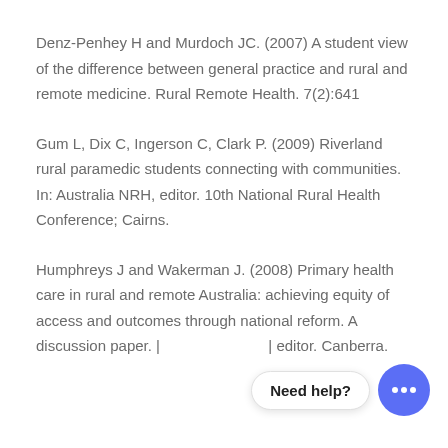Denz-Penhey H and Murdoch JC. (2007) A student view of the difference between general practice and rural and remote medicine. Rural Remote Health. 7(2):641
Gum L, Dix C, Ingerson C, Clark P. (2009) Riverland rural paramedic students connecting with communities. In: Australia NRH, editor. 10th National Rural Health Conference; Cairns.
Humphreys J and Wakerman J. (2008) Primary health care in rural and remote Australia: achieving equity of access and outcomes through national reform. A discussion paper. [Need help?] editor. Canberra.